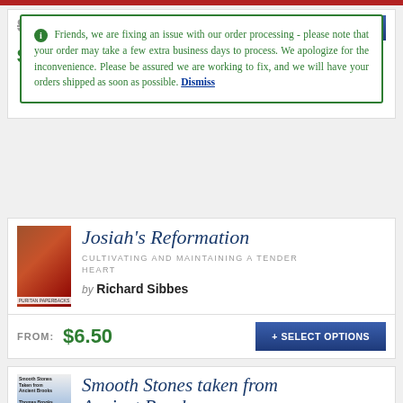Friends, we are fixing an issue with our order processing - please note that your order may take a few extra business days to process. We apologize for the inconvenience. Please be assured we are working to fix, and we will have your orders shipped as soon as possible. Dismiss
Josiah's Reformation
CULTIVATING AND MAINTAINING A TENDER HEART
by Richard Sibbes
FROM: $6.50
+ SELECT OPTIONS
Smooth Stones taken from Ancient Brooks
SELECTIONS FROM THE WRITINGS OF THOMAS BROOKS BY C.H. SPURGEON
by Thomas Brooks